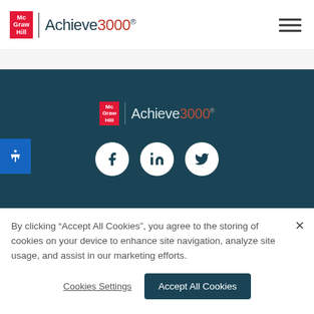[Figure (logo): McGraw Hill Achieve3000 logo in page header]
[Figure (logo): McGraw Hill Achieve3000 logo centered in dark teal banner with social icons (Facebook, LinkedIn, Twitter)]
By clicking “Accept All Cookies”, you agree to the storing of cookies on your device to enhance site navigation, analyze site usage, and assist in our marketing efforts.
Cookies Settings
Accept All Cookies